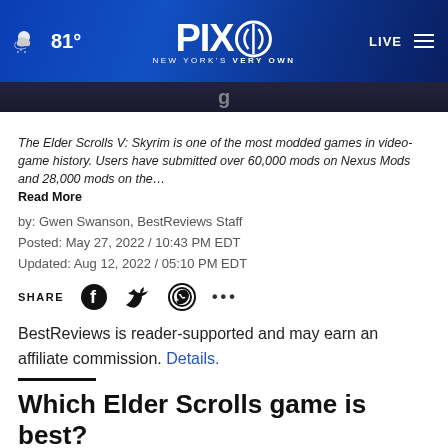PIX11 NEW YORK'S VERY OWN — 81° LIVE
[Figure (screenshot): Partial image of article hero photo — dark background with letter g visible]
The Elder Scrolls V: Skyrim is one of the most modded games in video-game history. Users have submitted over 60,000 mods on Nexus Mods and 28,000 mods on the… Read More
by: Gwen Swanson, BestReviews Staff
Posted: May 27, 2022 / 10:43 PM EDT
Updated: Aug 12, 2022 / 05:10 PM EDT
BestReviews is reader-supported and may earn an affiliate commission. Details.
Which Elder Scrolls game is best?